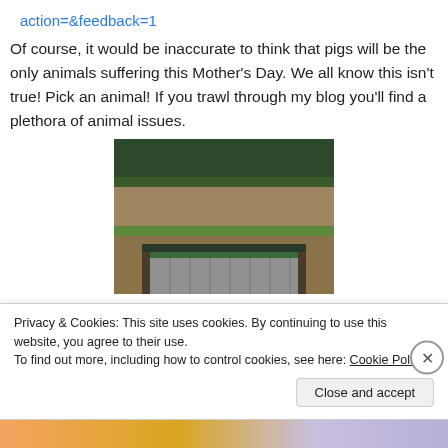action=&feedback=1
Of course, it would be inaccurate to think that pigs will be the only animals suffering this Mother's Day. We all know this isn't true! Pick an animal! If you trawl through my blog you'll find a plethora of animal issues.
[Figure (photo): Outdoor farm scene with trees in background, plowed earth, green strip, and a corrugated metal shed structure in foreground]
Privacy & Cookies: This site uses cookies. By continuing to use this website, you agree to their use.
To find out more, including how to control cookies, see here: Cookie Policy
Close and accept